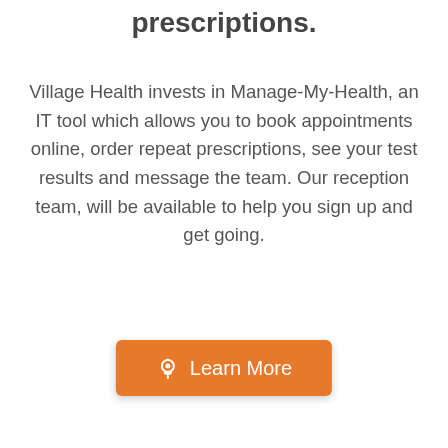prescriptions.
Village Health invests in Manage-My-Health, an IT tool which allows you to book appointments online, order repeat prescriptions, see your test results and message the team. Our reception team, will be available to help you sign up and get going.
[Figure (other): Orange 'Learn More' button with a lightbulb icon]